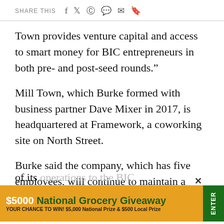SHARE THIS
Town provides venture capital and access to smart money for BIC entrepreneurs in both pre- and post-seed rounds.”
Mill Town, which Burke formed with business partner Dave Mixer in 2017, is headquartered at Framework, a coworking site on North Street.
Burke said the company, which has five employees, will continue to maintain a presence at Framework but will be moving most of its operations to the BIC
[Figure (infographic): $5000 National Grocery Giveaway advertisement banner. Text: '$5000 National Grocery Giveaway' and 'YOUR CHANCE TO WIN! $5,000 National Prize & $500 Local Prize' with green ENTER button.]